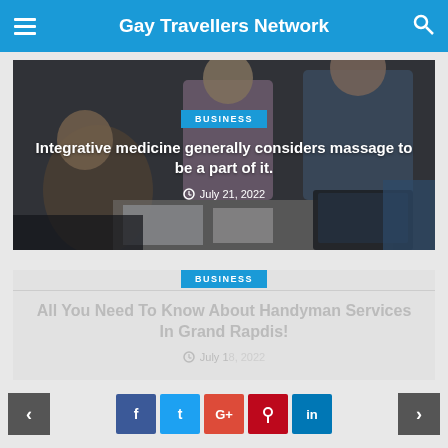Gay Travellers Network
[Figure (photo): Photo of people sitting around a table working with documents and laptops, overlaid with text about integrative medicine and massage]
BUSINESS
Integrative medicine generally considers massage to be a part of it.
July 21, 2022
[Figure (photo): Light gray card with business category badge and article title about handyman services]
BUSINESS
All You Need To Know About Handyman Services In Grand Rapdis!
July 18, 2022
< f t G+ p in >